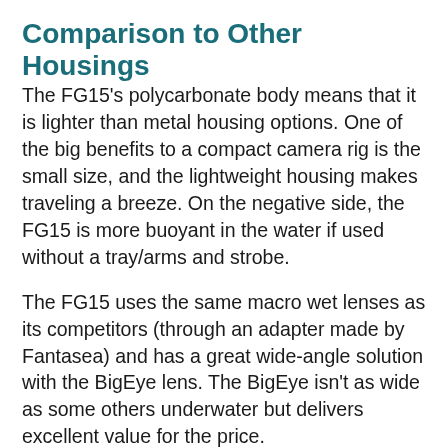Comparison to Other Housings
The FG15's polycarbonate body means that it is lighter than metal housing options. One of the big benefits to a compact camera rig is the small size, and the lightweight housing makes traveling a breeze. On the negative side, the FG15 is more buoyant in the water if used without a tray/arms and strobe.
The FG15 uses the same macro wet lenses as its competitors (through an adapter made by Fantasea) and has a great wide-angle solution with the BigEye lens. The BigEye isn't as wide as some others underwater but delivers excellent value for the price.
Lastly, the FG15 has clearly labeled buttons that make it easy to change settings underwater. This is a great feature for those...